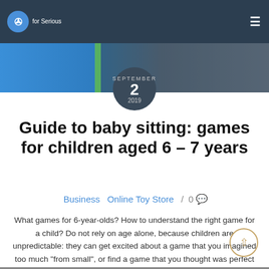for Serious | navigation menu
[Figure (photo): Hero banner photo showing a person at a desk with blurred background, overlaid with dark tint]
SEPTEMBER 2 2019
Guide to baby sitting: games for children aged 6 – 7 years
Business  Online Toy Store  /  0 💬
What games for 6-year-olds? How to understand the right game for a child? Do not rely on age alone, because children are unpredictable: they can get excited about a game that you imagined too much "from small", or find a game that you thought was perfect for them.